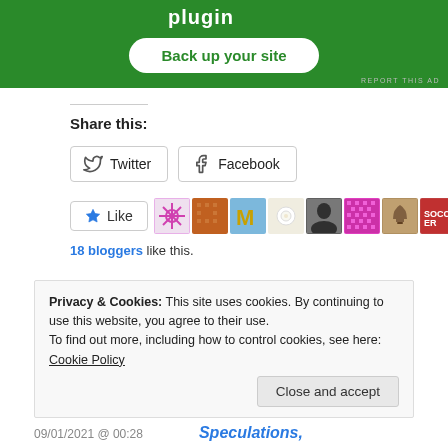[Figure (screenshot): Green ad banner with 'plugin' text, 'Back up your site' white rounded button, and 'REPORT THIS AD' small text at bottom right]
Share this:
Twitter  Facebook (share buttons)
[Figure (infographic): Like button with star icon and avatar images of 18 bloggers]
18 bloggers like this.
Privacy & Cookies: This site uses cookies. By continuing to use this website, you agree to their use.
To find out more, including how to control cookies, see here: Cookie Policy
Close and accept
09/01/2021 @ 00:28    Speculations,